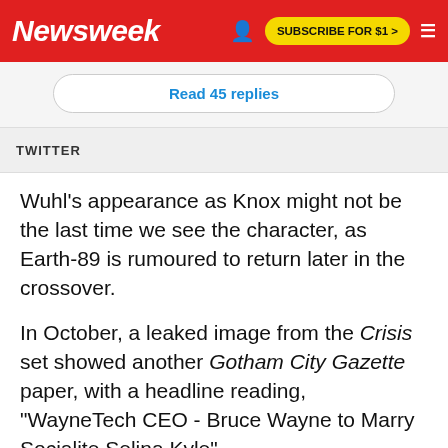Newsweek | SUBSCRIBE FOR $1 >
Read 45 replies
TWITTER
Wuhl's appearance as Knox might not be the last time we see the character, as Earth-89 is rumoured to return later in the crossover.
In October, a leaked image from the Crisis set showed another Gotham City Gazette paper, with a headline reading, "WayneTech CEO - Bruce Wayne to Marry Socialite Selina Kyle"—